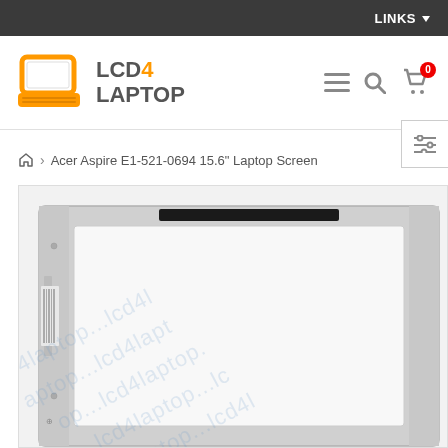LINKS
[Figure (logo): LCD4Laptop logo with orange laptop icon and gray text]
Acer Aspire E1-521-0694 15.6" Laptop Screen
[Figure (photo): Product photo of a 15.6 inch laptop LCD screen panel, shown from the front with silver frame, black connector bar at top, and lcd4laptop watermark text overlaid diagonally]